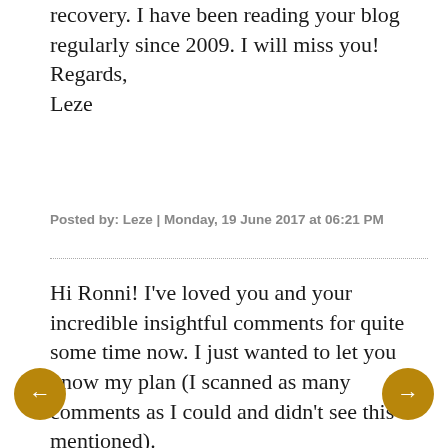recovery. I have been reading your blog regularly since 2009. I will miss you!
Regards,
Leze
Posted by: Leze | Monday, 19 June 2017 at 06:21 PM
Hi Ronni! I've loved you and your incredible insightful comments for quite some time now. I just wanted to let you know my plan (I scanned as many comments as I could and didn't see this mentioned).